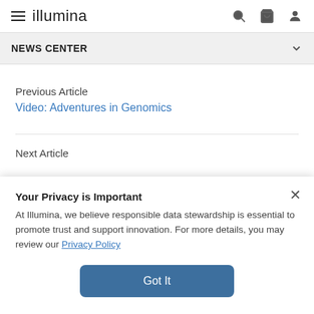illumina
NEWS CENTER
Previous Article
Video: Adventures in Genomics
Next Article
Your Privacy is Important
At Illumina, we believe responsible data stewardship is essential to promote trust and support innovation. For more details, you may review our Privacy Policy
Got It